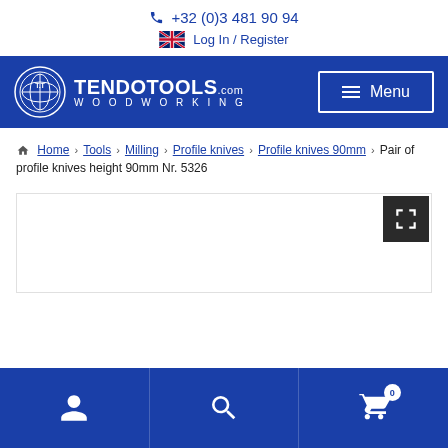+32 (0)3 481 90 94
Log In / Register
TENDOTOOLS.com WOODWORKING Menu
Home > Tools > Milling > Profile knives > Profile knives 90mm > Pair of profile knives height 90mm Nr. 5326
[Figure (screenshot): Product image placeholder area with expand/fullscreen button in top right corner]
User account | Search | Cart (0)